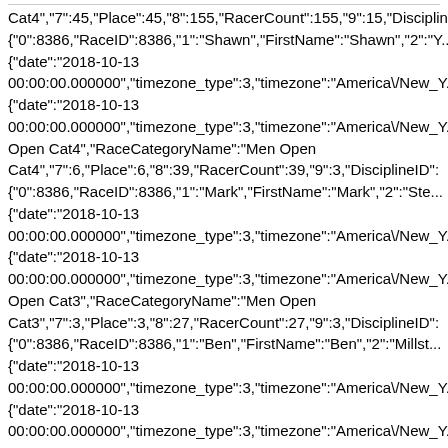Cat4","7":45,"Place":45,"8":155,"RacerCount":155,"9":15,"DisciplineID":
{"0":8386,"RaceID":8386,"1":"Shawn","FirstName":"Shawn","2":"Y...
{"date":"2018-10-13 00:00:00.000000","timezone_type":3,"timezone":"America\/New_Y...
{"date":"2018-10-13 00:00:00.000000","timezone_type":3,"timezone":"America\/New_Y...
Open Cat4","RaceCategoryName":"Men Open Cat4","7":6,"Place":6,"8":39,"RacerCount":39,"9":3,"DisciplineID":
{"0":8386,"RaceID":8386,"1":"Mark","FirstName":"Mark","2":"Ste...
{"date":"2018-10-13 00:00:00.000000","timezone_type":3,"timezone":"America\/New_Y...
{"date":"2018-10-13 00:00:00.000000","timezone_type":3,"timezone":"America\/New_Y...
Open Cat3","RaceCategoryName":"Men Open Cat3","7":3,"Place":3,"8":27,"RacerCount":27,"9":3,"DisciplineID":
{"0":8386,"RaceID":8386,"1":"Ben","FirstName":"Ben","2":"Millst...
{"date":"2018-10-13 00:00:00.000000","timezone_type":3,"timezone":"America\/New_Y...
{"date":"2018-10-13 00:00:00.000000","timezone_type":3,"timezone":"America\/New_Y...
Open Cat3","RaceCategoryName":"Men Open Cat3","7":16,"Place":16,"8":27,"RacerCount":27,"9":3,"DisciplineID":
{"0":8372,"RaceID":8372,"1":"Clementine","FirstName":"Clementi...
Sportswear Gran Prix of Gloucester Day 1","RaceName":"CRAFT Sportswear Gran Prix of Gloucester Day 1","5":{"date":"2018-10-13